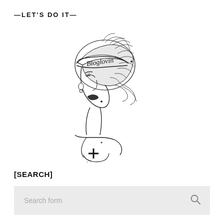—LET'S DO IT—
[Figure (illustration): Line art illustration of a stylized fashion woman with an elaborate updo hairstyle wearing a hat with 'Bloglovin' written on it, facing left in profile, with a cross symbol on her chest/clothing. Black and white ink drawing style.]
[SEARCH]
Search form